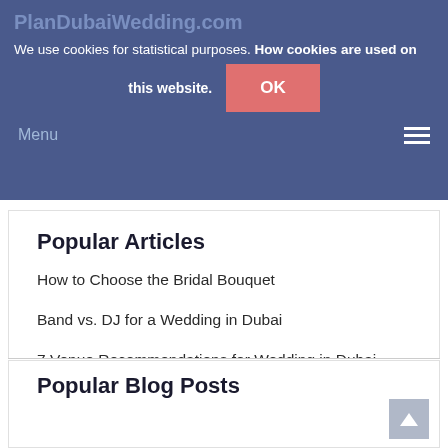PlanDubaiWedding.com — We use cookies for statistical purposes. How cookies are used on this website. OK — Menu
Popular Articles
How to Choose the Bridal Bouquet
Band vs. DJ for a Wedding in Dubai
7 Venue Recommendations for Wedding in Dubai
How to Plan a Wedding on the Beach in Dubai
How to Choose the Hotel for Your Guests in Dubai
Popular Blog Posts